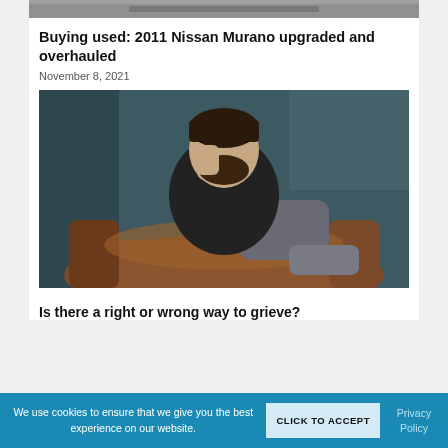[Figure (photo): Top portion of an image showing a road or car scene, partially cropped at the top of the page]
Buying used: 2011 Nissan Murano upgraded and overhauled
November 8, 2021
[Figure (photo): A man sitting on a brown leather couch with his hand on his forehead, looking stressed or grieving, against a dark teal wall]
Is there a right or wrong way to grieve?
We use cookies to ensure that we give you the best experience on our website.
CLICK TO ACCEPT
Privacy Policy